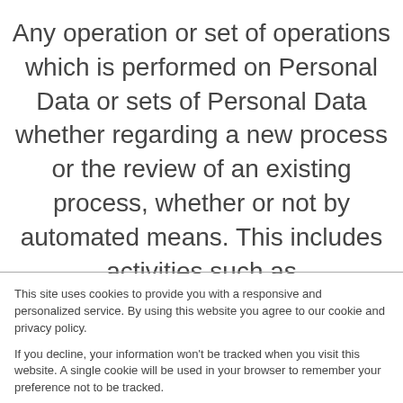Processing — Any operation or set of operations which is performed on Personal Data or sets of Personal Data whether regarding a new process or the review of an existing process, whether or not by automated means. This includes activities such as collection, recording, organization, structuring, storage, adaptation or alteration, retrieval, consultation, use,
This site uses cookies to provide you with a responsive and personalized service. By using this website you agree to our cookie and privacy policy.
If you decline, your information won't be tracked when you visit this website. A single cookie will be used in your browser to remember your preference not to be tracked.